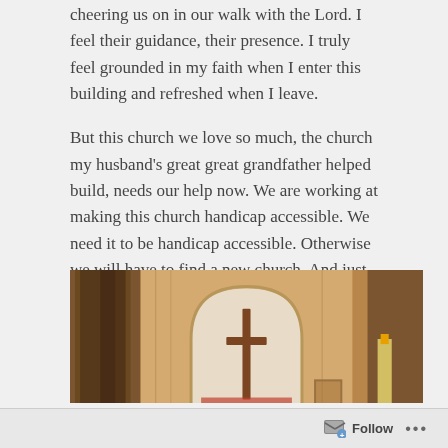cheering us on in our walk with the Lord.  I feel their guidance, their presence.  I truly feel grounded in my faith when I enter this building and refreshed when I leave.
But this church we love so much, the church my husband’s great great grandfather helped build, needs our help now.  We are working at making this church handicap accessible.  We need it to be handicap accessible.  Otherwise we will have to find a new church.  And just how do you go about finding a new heart?
[Figure (photo): Interior of a church showing an arched alcove with a wooden cross in the center, warm brown wooden walls and paneling, and some items on either side]
Follow ...